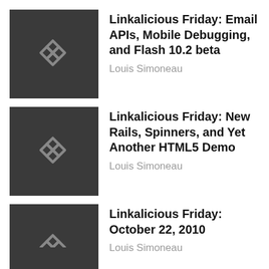[Figure (logo): Dark gray square with a stylized chain-link S logo in gray outline]
Linkalicious Friday: Email APIs, Mobile Debugging, and Flash 10.2 beta
Louis Simoneau
[Figure (logo): Dark gray square with a stylized chain-link S logo in gray outline]
Linkalicious Friday: New Rails, Spinners, and Yet Another HTML5 Demo
Louis Simoneau
[Figure (logo): Dark gray square with a stylized chain-link S logo in gray outline]
Linkalicious Friday: October 22, 2010
Louis Simoneau